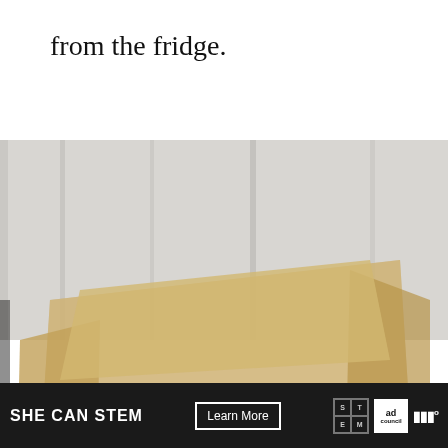from the fridge.
[Figure (photo): Overhead view of a chocolate flapjack/brownie slab in a baking tin lined with parchment paper, showing a glossy dark chocolate top with swirled patterns and oat/crumble edges visible beneath the parchment folds. Background is a rustic whitewashed wood surface. Social media UI overlays: teal heart button with count 431, teal share button, and a 'What's Next: Coconut Flapjacks' thumbnail panel.]
SHE CAN STEM   Learn More